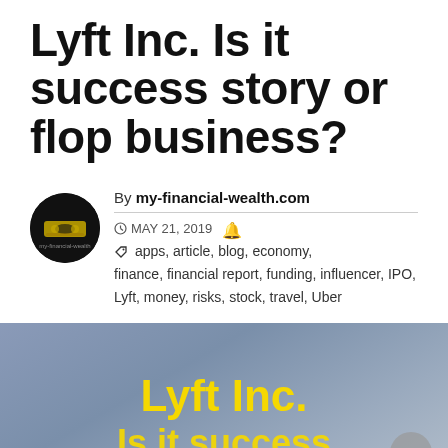Lyft Inc. Is it success story or flop business?
By my-financial-wealth.com
MAY 21, 2019  apps, article, blog, economy, finance, financial report, funding, influencer, IPO, Lyft, money, risks, stock, travel, Uber
[Figure (illustration): Gray-blue sky background with bold yellow text reading 'Lyft Inc.' and partially visible subtitle text below, with a small circular scroll button in the bottom right corner.]